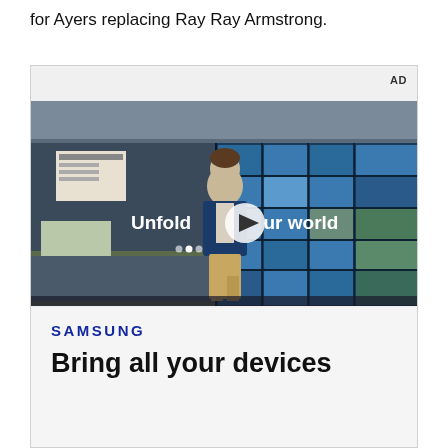for Ayers replacing Ray Ray Armstrong.
[Figure (screenshot): Samsung advertisement showing a video player with a young man walking in a cafeteria with blue grid windows behind him. Text overlay reads 'Unfold your world' with a play button. Below the video is the Samsung logo and headline text 'Bring all your devices'.]
SAMSUNG
Bring all your devices